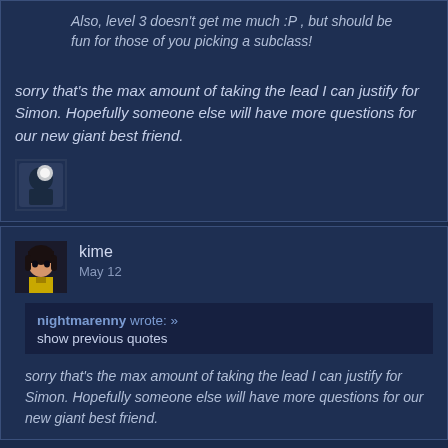Also, level 3 doesn't get me much :P , but should be fun for those of you picking a subclass!
sorry that's the max amount of taking the lead I can justify for Simon. Hopefully someone else will have more questions for our new giant best friend.
[Figure (illustration): Small avatar image, appears to be a character with white/light colored element]
kime
May 12
nightmarenny wrote: » show previous quotes
sorry that's the max amount of taking the lead I can justify for Simon. Hopefully someone else will have more questions for our new giant best friend.